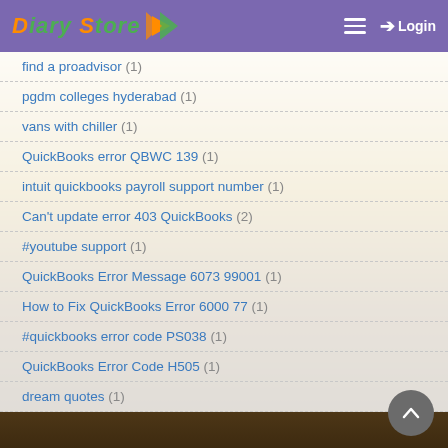Diary Store — Login
find a proadvisor (1)
pgdm colleges hyderabad (1)
vans with chiller (1)
QuickBooks error QBWC 139 (1)
intuit quickbooks payroll support number (1)
Can't update error 403 QuickBooks (2)
#youtube support (1)
QuickBooks Error Message 6073 99001 (1)
How to Fix QuickBooks Error 6000 77 (1)
#quickbooks error code PS038 (1)
QuickBooks Error Code H505 (1)
dream quotes (1)